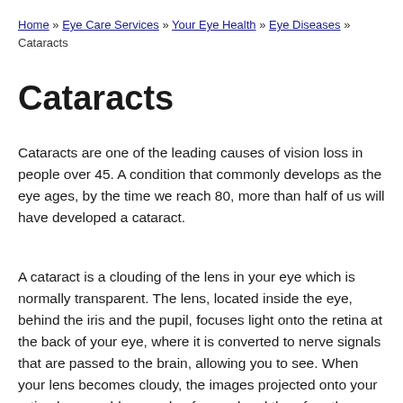Home » Eye Care Services » Your Eye Health » Eye Diseases » Cataracts
Cataracts
Cataracts are one of the leading causes of vision loss in people over 45. A condition that commonly develops as the eye ages, by the time we reach 80, more than half of us will have developed a cataract.
A cataract is a clouding of the lens in your eye which is normally transparent. The lens, located inside the eye, behind the iris and the pupil, focuses light onto the retina at the back of your eye, where it is converted to nerve signals that are passed to the brain, allowing you to see. When your lens becomes cloudy, the images projected onto your retina become blurry and unfocused and therefore the signal to the brain is also unclear. You can